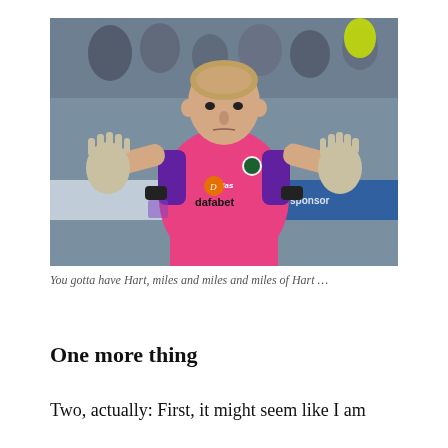[Figure (photo): A male goalkeeper wearing a pink Celtic FC jersey with 'dafabet' sponsor logo and Adidas branding, raising both gloved hands outward in a gesture, with a stadium crowd and advertising boards in the background.]
You gotta have Hart, miles and miles and miles of Hart …
One more thing
Two, actually: First, it might seem like I am